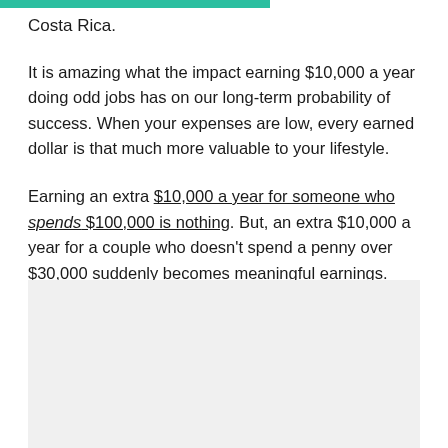Costa Rica.
It is amazing what the impact earning $10,000 a year doing odd jobs has on our long-term probability of success. When your expenses are low, every earned dollar is that much more valuable to your lifestyle.
Earning an extra $10,000 a year for someone who spends $100,000 is nothing. But, an extra $10,000 a year for a couple who doesn't spend a penny over $30,000 suddenly becomes meaningful earnings.
[Figure (photo): Image placeholder area at bottom of page]